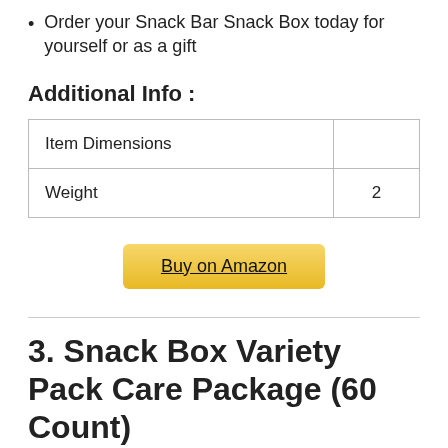Order your Snack Bar Snack Box today for yourself or as a gift
Additional Info :
| Item Dimensions |  |
| Weight | 2 |
Buy on Amazon
3. Snack Box Variety Pack Care Package (60 Count)